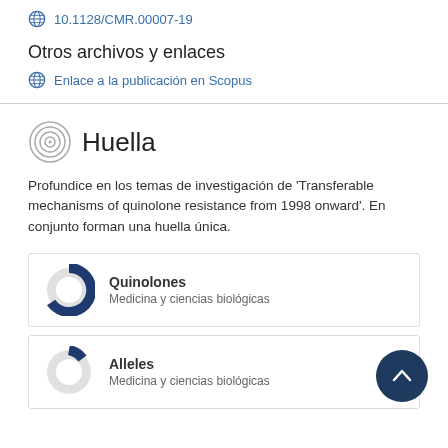10.1128/CMR.00007-19
Otros archivos y enlaces
Enlace a la publicación en Scopus
Huella
Profundice en los temas de investigación de 'Transferable mechanisms of quinolone resistance from 1998 onward'. En conjunto forman una huella única.
Quinolones
Medicina y ciencias biológicas
Alleles
Medicina y ciencias biológicas